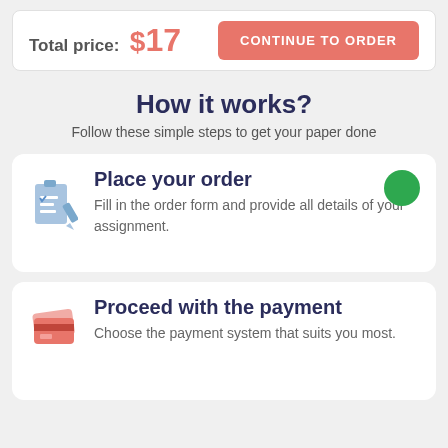Total price: $17
CONTINUE TO ORDER
How it works?
Follow these simple steps to get your paper done
Place your order
Fill in the order form and provide all details of your assignment.
Proceed with the payment
Choose the payment system that suits you most.